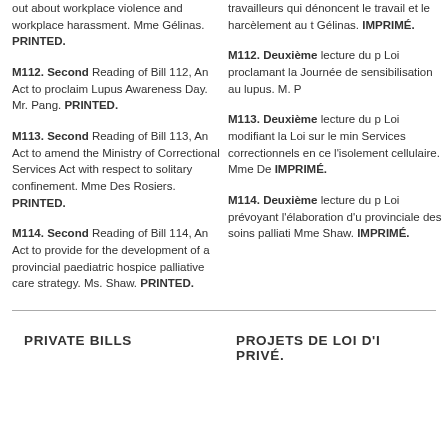out about workplace violence and workplace harassment. Mme Gélinas. PRINTED.
travailleurs qui dénoncent le travail et le harcèlement au t Gélinas. IMPRIMÉ.
M112. Second Reading of Bill 112, An Act to proclaim Lupus Awareness Day. Mr. Pang. PRINTED.
M112. Deuxième lecture du projet de Loi proclamant la Journée de sensibilisation au lupus. M. P IMPRIMÉ.
M113. Second Reading of Bill 113, An Act to amend the Ministry of Correctional Services Act with respect to solitary confinement. Mme Des Rosiers. PRINTED.
M113. Deuxième lecture du projet de Loi modifiant la Loi sur le ministère des Services correctionnels en ce qui concerne l'isolement cellulaire. Mme De IMPRIMÉ.
M114. Second Reading of Bill 114, An Act to provide for the development of a provincial paediatric hospice palliative care strategy. Ms. Shaw. PRINTED.
M114. Deuxième lecture du projet de Loi prévoyant l'élaboration d'une stratégie provinciale des soins palliatifs pédiatriques. Mme Shaw. IMPRIMÉ.
PRIVATE BILLS
PROJETS DE LOI D'INTÉRÊT PRIVÉ